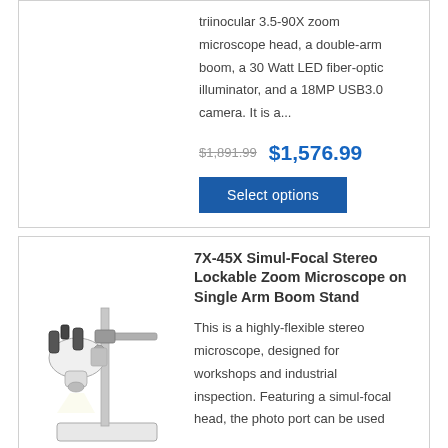triinocular 3.5-90X zoom microscope head, a double-arm boom, a 30 Watt LED fiber-optic illuminator, and a 18MP USB3.0 camera. It is a...
$1,891.99  $1,576.99
Select options
[Figure (photo): Stereo zoom microscope on single arm boom stand with binocular/trinocular head, vertical pole, horizontal arm, and white base]
7X-45X Simul-Focal Stereo Lockable Zoom Microscope on Single Arm Boom Stand
This is a highly-flexible stereo microscope, designed for workshops and industrial inspection. Featuring a simul-focal head, the photo port can be used